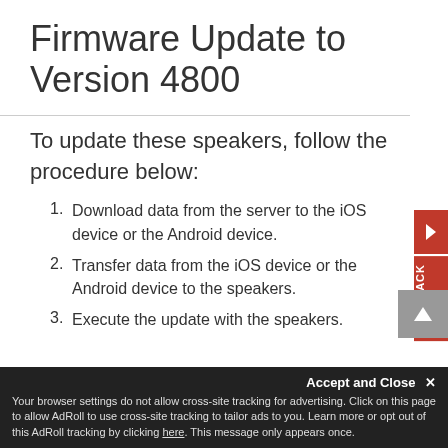Firmware Update to Version 4800
To update these speakers, follow the procedure below:
Download data from the server to the iOS device or the Android device.
Transfer data from the iOS device or the Android device to the speakers.
Execute the update with the speakers.
Accept and Close ✕ Your browser settings do not allow cross-site tracking for advertising. Click on this page to allow AdRoll to use cross-site tracking to tailor ads to you. Learn more or opt out of this AdRoll tracking by clicking here. This message only appears once.